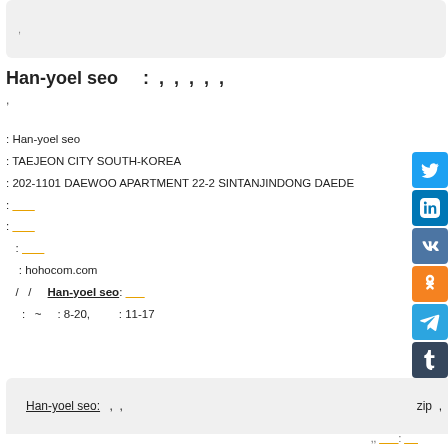,
Han-yoel seo : , , , , ,
,
: Han-yoel seo
: TAEJEON CITY SOUTH-KOREA
: 202-1101 DAEWOO APARTMENT 22-2 SINTANJINDONG DAEDE
: ______
: ______
  : ______
  : hohocom.com
 / /   Han-yoel seo: ______
  : ~ : 8-20, : 11-17
Han-yoel seo: , , zip ,